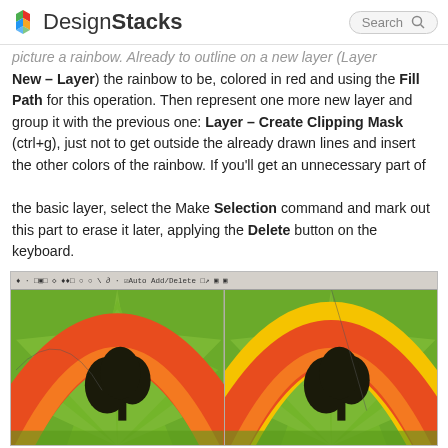DesignStacks | Search
picture a rainbow. Already to outline on a new layer (Layer New – Layer) the rainbow to be, colored in red and using the Fill Path for this operation. Then represent one more new layer and group it with the previous one: Layer – Create Clipping Mask (ctrl+g), just not to get outside the already drawn lines and insert the other colors of the rainbow. If you'll get an unnecessary part of
the basic layer, select the Make Selection command and mark out this part to erase it later, applying the Delete button on the keyboard.
[Figure (screenshot): Screenshot of Adobe Illustrator showing two panels side by side with a rainbow design over a green sunburst background with a tree silhouette. The left panel shows an orange/red arc, and the right panel shows the arc with yellow added.]